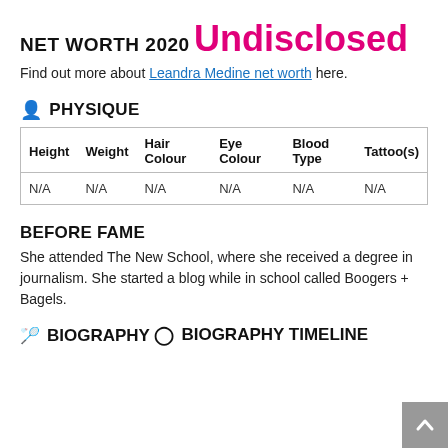NET WORTH 2020
Undisclosed
Find out more about Leandra Medine net worth here.
PHYSIQUE
| Height | Weight | Hair Colour | Eye Colour | Blood Type | Tattoo(s) |
| --- | --- | --- | --- | --- | --- |
| N/A | N/A | N/A | N/A | N/A | N/A |
BEFORE FAME
She attended The New School, where she received a degree in journalism. She started a blog while in school called Boogers + Bagels.
BIOGRAPHY
BIOGRAPHY TIMELINE